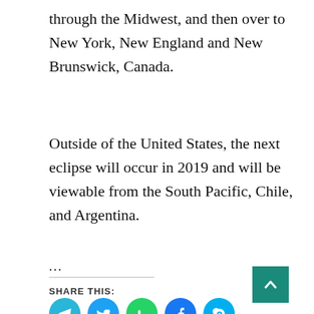through the Midwest, and then over to New York, New England and New Brunswick, Canada.
Outside of the United States, the next eclipse will occur in 2019 and will be viewable from the South Pacific, Chile, and Argentina.
...
SHARE THIS:
[Figure (infographic): Social share buttons: Telegram, Twitter, WhatsApp, Facebook, Skype icons in circular colored buttons, and a teal back-to-top arrow button]